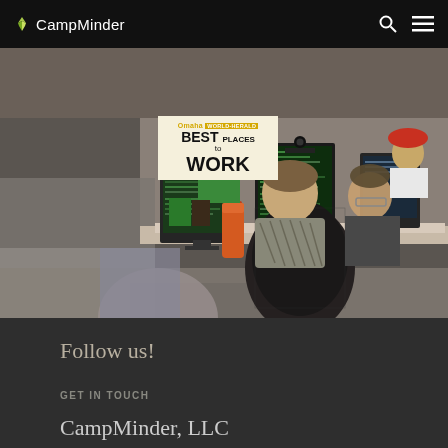CampMinder
[Figure (photo): Office scene with employees working at computers with multiple monitors. A 'Best Places to Work' sign is visible in the background.]
Follow us!
GET IN TOUCH
CampMinder, LLC